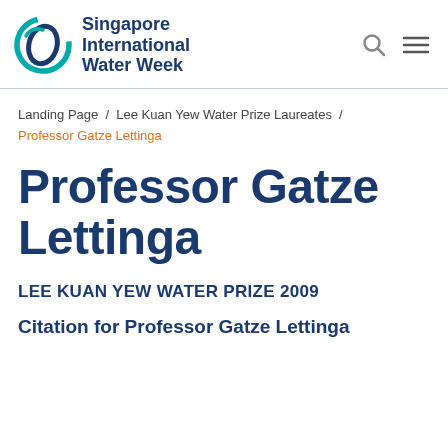[Figure (logo): Singapore International Water Week logo with circular water drop/wave icon in teal and dark blue, and bold blue text reading 'Singapore International Water Week']
Landing Page / Lee Kuan Yew Water Prize Laureates / Professor Gatze Lettinga
Professor Gatze Lettinga
LEE KUAN YEW WATER PRIZE 2009
Citation for Professor Gatze Lettinga